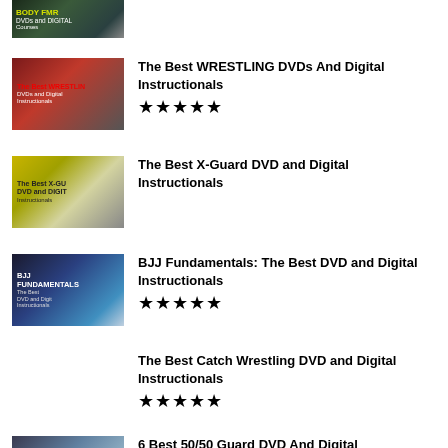[Figure (photo): Partial top image showing DVD/Digital courses thumbnail, cropped at top]
The Best WRESTLING DVDs And Digital Instructionals ★★★★★
The Best X-Guard DVD and Digital Instructionals
BJJ Fundamentals: The Best DVD and Digital Instructionals ★★★★★
The Best Catch Wrestling DVD and Digital Instructionals ★★★★★
6 Best 50/50 Guard DVD And Digital (partial)